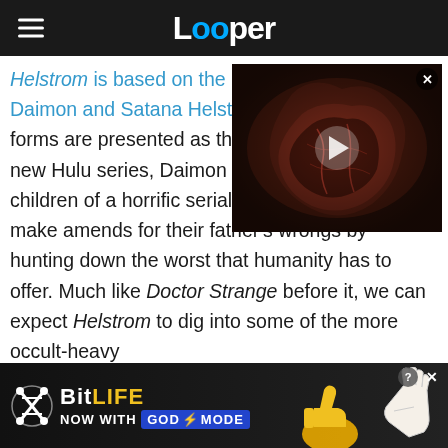Looper
Helstrom is based on the Marvel Comics characters Daimon and Satana Helstrom. In their comic book forms are presented as the children – in the new Hulu series, Daimon and Satana are the children of a horrific serial killer, who attempt to make amends for their father's wrongs by hunting down the worst that humanity has to offer. Much like Doctor Strange before it, we can expect Helstrom to dig into some of the more occult-heavy aspects of the Marvel Universe that we'll find at…
[Figure (screenshot): Video thumbnail overlay showing dark creature/monster imagery with a play button, and a close button in the top right corner]
[Figure (other): BitLife advertisement banner: BitLife NOW WITH GOD MODE with yellow thumbs up and hand icons on black background]